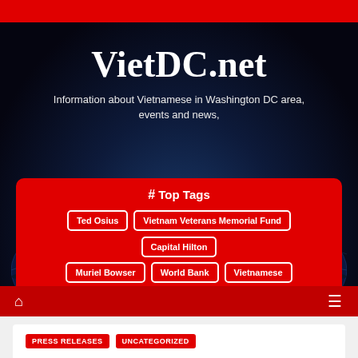VietDC.net
VietDC.net
Information about Vietnamese in Washington DC area, events and news,
# Top Tags
Ted Osius
Vietnam Veterans Memorial Fund
Capital Hilton
Muriel Bowser
World Bank
Vietnamese
Giac Hoang Temple
PRESS RELEASES
UNCATEGORIZED
Vietnam War Rape and Assault Victims Call